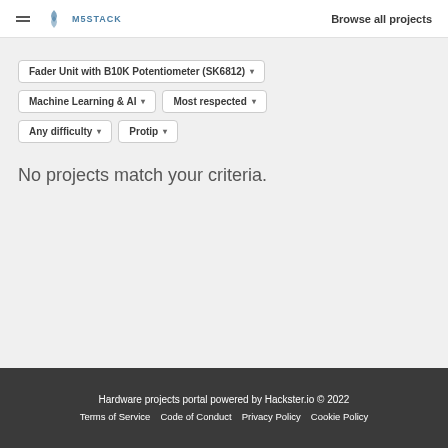M5STACK | Browse all projects
Fader Unit with B10K Potentiometer (SK6812) ▾
Machine Learning & AI ▾   Most respected ▾
Any difficulty ▾   Protip ▾
No projects match your criteria.
Hardware projects portal powered by Hackster.io © 2022
Terms of Service   Code of Conduct   Privacy Policy   Cookie Policy